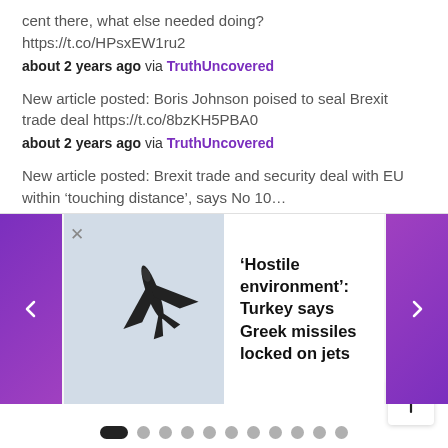cent there, what else needed doing? https://t.co/HPsxEW1ru2
about 2 years ago via TruthUncovered
New article posted: Boris Johnson poised to seal Brexit trade deal https://t.co/8bzKH5PBA0
about 2 years ago via TruthUncovered
New article posted: Brexit trade and security deal with EU within ‘touching distance’, says No 10…
[Figure (screenshot): News carousel card showing a military jet aircraft silhouette against a grey sky, with headline: 'Hostile environment': Turkey says Greek missiles locked on jets. Purple left and right navigation arrows flank the card.]
Pagination dots row: 11 dots, first dot active (elongated black pill), rest grey circles. Scroll-to-top button in bottom right corner.